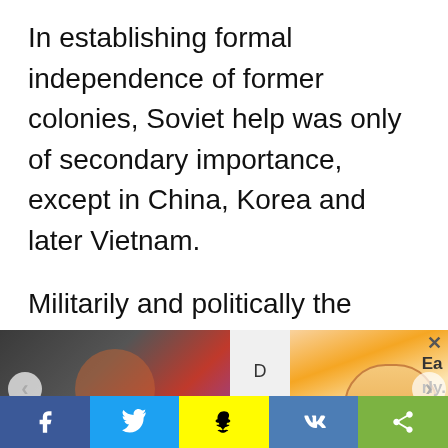In establishing formal independence of former colonies, Soviet help was only of secondary importance, except in China, Korea and later Vietnam.
Militarily and politically the West ran into a quagmire soon after WWII.
The Soviet Union suddenly became a
[Figure (screenshot): Advertisement banner with close button (X), left panel showing a dark image of a person, middle text reading 'D o Yo', right panel showing an illustration of a sleeping face with text 'Ea rly.']
[Figure (screenshot): Social media sharing bar with Facebook (blue), Twitter (light blue), Snapchat (yellow), VK (blue), and share (green) buttons]